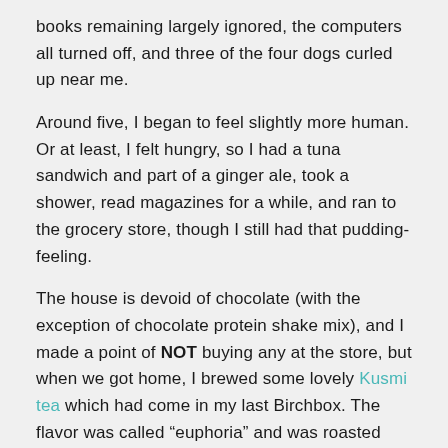books remaining largely ignored, the computers all turned off, and three of the four dogs curled up near me.
Around five, I began to feel slightly more human. Or at least, I felt hungry, so I had a tuna sandwich and part of a ginger ale, took a shower, read magazines for a while, and ran to the grocery store, though I still had that pudding-feeling.
The house is devoid of chocolate (with the exception of chocolate protein shake mix), and I made a point of NOT buying any at the store, but when we got home, I brewed some lovely Kusmi tea which had come in my last Birchbox. The flavor was called “euphoria” and was roasted mate with chocolate and orange. I added a level teaspoon of turbinado sugar, and while I didn’t feel euphoric after drinking it, I did feel a bit more grounded and centered.
Another mug of tea followed about an hour later, along with